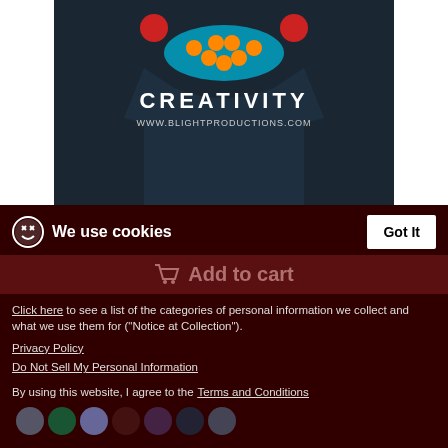[Figure (photo): Main product image: dark navy t-shirt with colorful gaming controller graphic and text CREATIVITY, WWW.BLIGHTPRODUCTIONS.COM]
[Figure (photo): Five product thumbnail images: front with graphic, colorful artwork close-up, plain front, side view, back view - all navy t-shirt]
$25.99
plus shipping
We use cookies
Got It
Add to cart
Click here to see a list of the categories of personal information we collect and what we use them for ("Notice at Collection").
Privacy Policy
Do Not Sell My Personal Information
By using this website, I agree to the Terms and Conditions